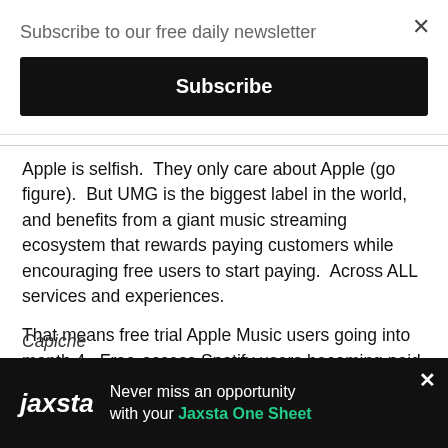Subscribe to our free daily newsletter
Subscribe
Apple is selfish.  They only care about Apple (go figure).  But UMG is the biggest label in the world, and benefits from a giant music streaming ecosystem that rewards paying customers while encouraging free users to start paying.  Across ALL services and experiences.
That means free trial Apple Music users going into month 4.  Free-access Spotify users becoming paid subscribers.  Pandora users trying out Plus.  And YouTube users ditching their disorganized playlists for something better.
And it all happens by smart windowing, not by industry-limiting exclusives.
Capiche
[Figure (infographic): Jaxsta advertisement banner: black background with Jaxsta logo in white italic text, and text 'Never miss an opportunity with your Jaxsta One Sheet' where 'Jaxsta One Sheet' is highlighted in green.]